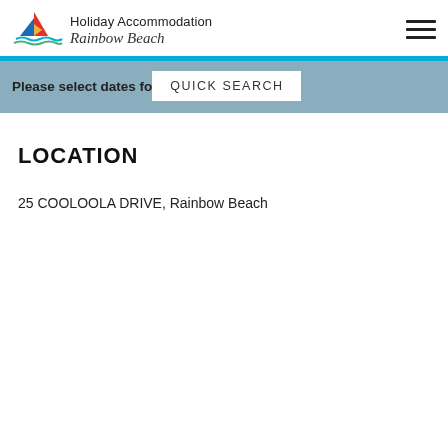Holiday Accommodation Rainbow Beach
Please select dates fo  QUICK SEARCH
LOCATION
25 COOLOOLA DRIVE, Rainbow Beach